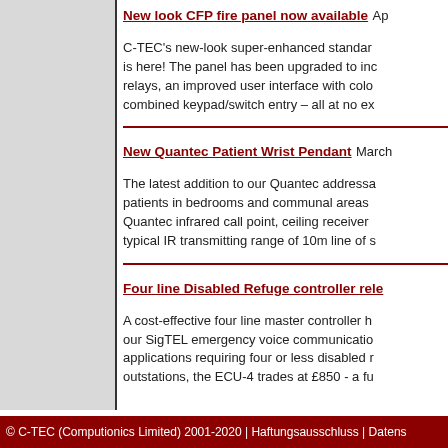New look CFP fire panel now available
C-TEC’s new-look super-enhanced standard is here! The panel has been upgraded to include relays, an improved user interface with colour combined keypad/switch entry – all at no ex
New Quantec Patient Wrist Pendant March
The latest addition to our Quantec addressable patients in bedrooms and communal areas Quantec infrared call point, ceiling receiver typical IR transmitting range of 10m line of s
Four line Disabled Refuge controller rele
A cost-effective four line master controller h our SigTEL emergency voice communicatio applications requiring four or less disabled m outstations, the ECU-4 trades at £850 - a fu
© C-TEC (Computionics Limited) 2001-2020 | Haftungsausschluss | Datens